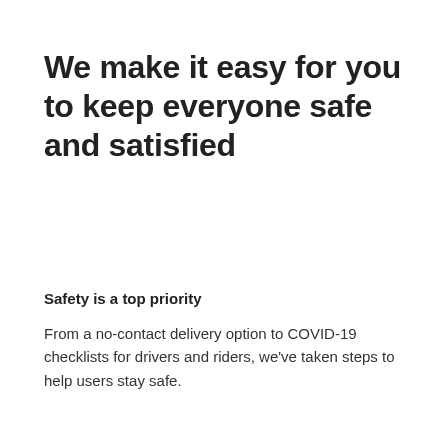We make it easy for you to keep everyone safe and satisfied
Safety is a top priority
From a no-contact delivery option to COVID-19 checklists for drivers and riders, we've taken steps to help users stay safe.